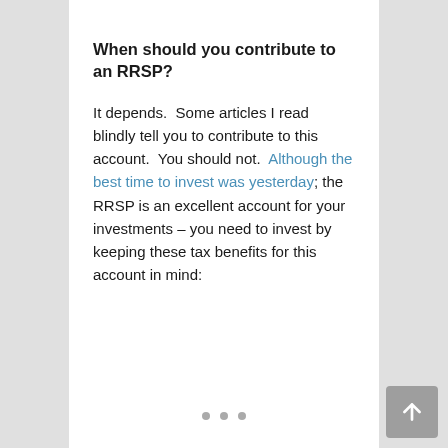When should you contribute to an RRSP?
It depends.  Some articles I read blindly tell you to contribute to this account.  You should not.  Although the best time to invest was yesterday; the RRSP is an excellent account for your investments – you need to invest by keeping these tax benefits for this account in mind: